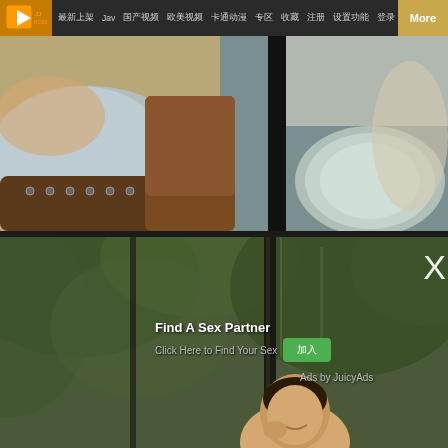JJRCSS J More
[Figure (photo): Close-up photo of a person in a beige/silver dress seated, with brown boots, next to a round metallic plate on a teal surface. Dark vertical pole in center.]
[Figure (photo): Outdoor scene with green foliage background, vertical pole/fence in middle, person smiling at bottom. Advertisement overlay with 'Find A Sex Partner' text, green button, and 'Ads by JuicyAds' attribution. X close button top right.]